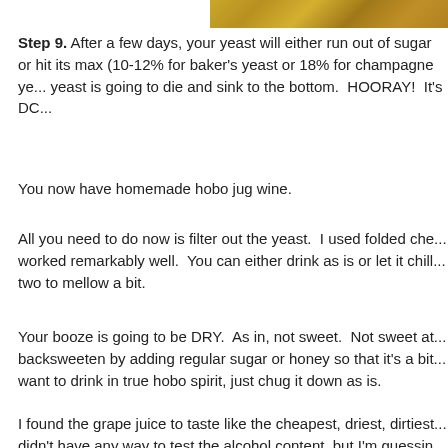[Figure (photo): Partial photo strip at top right, showing golden/brown textured surface (possibly hay or grain)]
Step 9. After a few days, your yeast will either run out of sugar or hit its max (10-12% for baker's yeast or 18% for champagne yeast). The yeast is going to die and sink to the bottom.  HOORAY!  It's DO...
You now have homemade hobo jug wine.
All you need to do now is filter out the yeast.  I used folded che... worked remarkably well.  You can either drink as is or let it chill... two to mellow a bit.
Your booze is going to be DRY.  As in, not sweet.  Not sweet at... backsweeten by adding regular sugar or honey so that it's a bit... want to drink in true hobo spirit, just chug it down as is.
I found the grape juice to taste like the cheapest, driest, dirtiest... didn't have any way to test the alcohol content, but I'm guessin... 17%.  The orange-peach-mango juice blend smelled a lot like a... tasted like dry cardboard.  Delicious.  I probably should have ac... done so that it tasted better, but whatever.  On a side note, hob... a crazy headache if you drink too much, so beware.